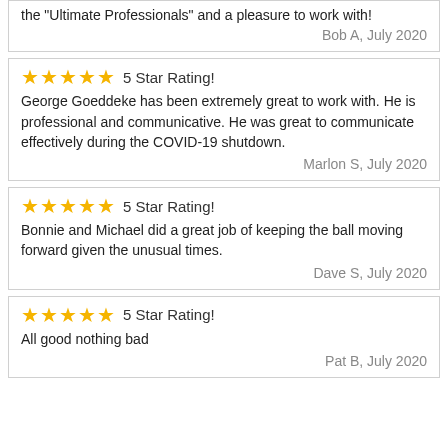the "Ultimate Professionals" and a pleasure to work with!
Bob A, July 2020
5 Star Rating!
George Goeddeke has been extremely great to work with. He is professional and communicative. He was great to communicate effectively during the COVID-19 shutdown.
Marlon S, July 2020
5 Star Rating!
Bonnie and Michael did a great job of keeping the ball moving forward given the unusual times.
Dave S, July 2020
5 Star Rating!
All good nothing bad
Pat B, July 2020